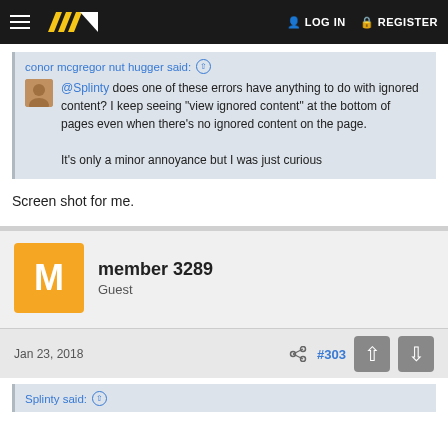LOG IN  REGISTER
conor mcgregor nut hugger said:
@Splinty does one of these errors have anything to do with ignored content? I keep seeing "view ignored content" at the bottom of pages even when there's no ignored content on the page.

It's only a minor annoyance but I was just curious
Screen shot for me.
member 3289
Guest
Jan 23, 2018  #303
Splinty said: